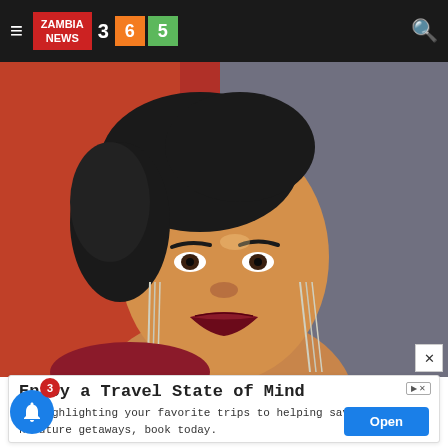ZAMBIA NEWS 3 6 5
[Figure (photo): Portrait photo of a smiling woman with braided hair, bold red lipstick, dangling silver earrings, and a red outfit, against a colourful background]
Enjoy a Travel State of Mind
om highlighting your favorite trips to helping save more n future getaways, book today.
RCI
Open